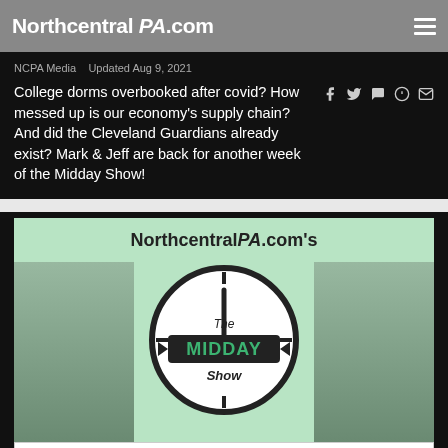NorthcentralPA.com
NCPA Media   Updated Aug 9, 2021
College dorms overbooked after covid? How messed up is our economy's supply chain? And did the Cleveland Guardians already exist? Mark & Jeff are back for another week of the Midday Show!
[Figure (screenshot): Northcentral PA.com Midday Show thumbnail with two male hosts flanking a clock logo, 'The MIDDAY Show' text in center on mint green background]
[Figure (infographic): CHIP Pennsylvania Children's Health Insurance Program + UPMC for Kids advertisement with Learn More button]